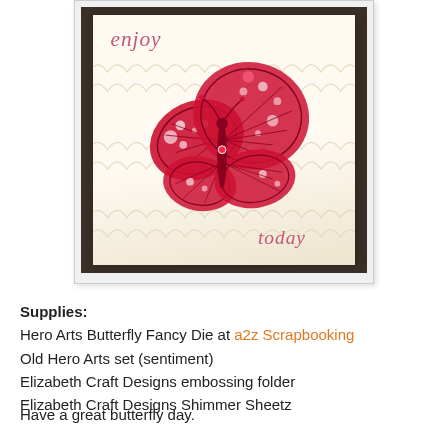[Figure (photo): Handmade greeting card featuring a large red glittery butterfly on a cream-colored embossed scallop-pattern background. The word 'enjoy' appears in pink italic script at the top left, and 'today' appears at the bottom right. The card is photographed against a dark background.]
Supplies:
Hero Arts Butterfly Fancy Die at a2z Scrapbooking
Old Hero Arts set (sentiment)
Elizabeth Craft Designs embossing folder
Elizabeth Craft Designs Shimmer Sheetz
Have a great butterfly day.